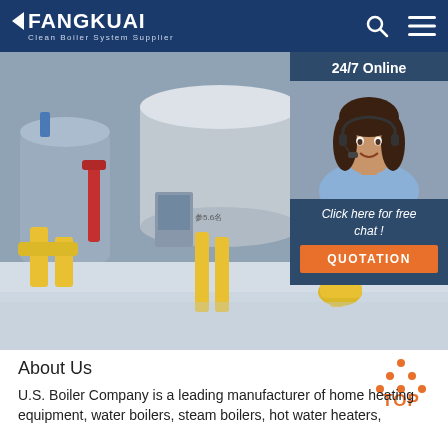FANGKUAI — Clean Boiler System Supplier
[Figure (photo): Industrial boiler plant interior showing large silver cylindrical boilers with yellow and red pipe fittings on a polished floor]
[Figure (infographic): 24/7 Online chat panel with photo of female customer service representative wearing headset, 'Click here for free chat!' text, and orange QUOTATION button]
[Figure (infographic): Orange TOP button with dot-triangle arrow pointing up and text 'TOP']
About Us
U.S. Boiler Company is a leading manufacturer of home heating equipment, water boilers, steam boilers, hot water heaters,